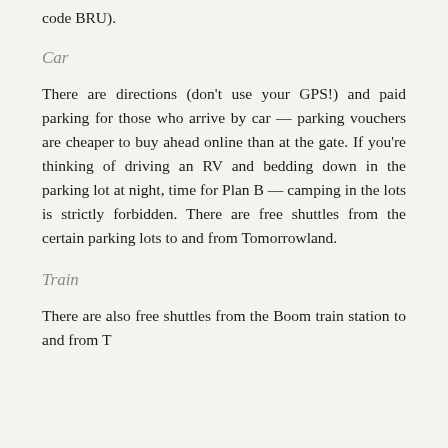code BRU).
Car
There are directions (don't use your GPS!) and paid parking for those who arrive by car — parking vouchers are cheaper to buy ahead online than at the gate. If you're thinking of driving an RV and bedding down in the parking lot at night, time for Plan B — camping in the lots is strictly forbidden. There are free shuttles from the certain parking lots to and from Tomorrowland.
Train
There are also free shuttles from the Boom train station to and from Tomorrowland and Dour Villa. For the